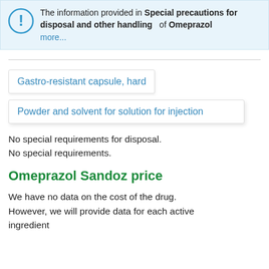The information provided in Special precautions for disposal and other handling of Omeprazol more...
Gastro-resistant capsule, hard
Powder and solvent for solution for injection
No special requirements for disposal.
No special requirements.
Omeprazol Sandoz price
We have no data on the cost of the drug. However, we will provide data for each active ingredient